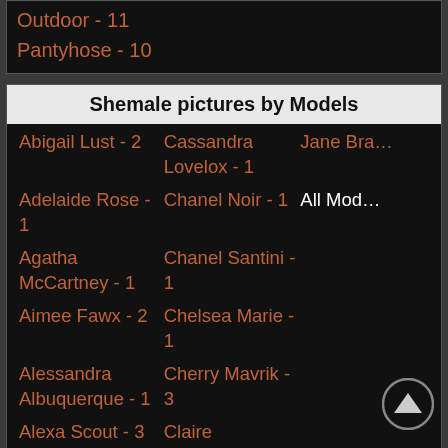Outdoor - 11
Pantyhose - 10
Shemale pictures by Models
Abigail Lust - 2
Cassandra Lovelox - 1
Jane Bra…
Adelaide Rose - 1
Chanel Noir - 1
All Mod…
Agatha McCartney - 1
Chanel Santini - 1
Aimee Fawx - 2
Chelsea Marie - 1
Alessandra Albuquerque - 1
Cherry Mavrik - 3
Alexa Scout - 3
Claire Tenebrarum - 2
Alina Doll - 1
Clara Ludovice - 1
Alina Wang - 2
Cleo Wynter - 3
Alisha - 1
Cristina Cuellar - 1
Alisson Manrique - 1
Crystal Thayer - 4
Amy Amour - 1
Daisy Chainsaw - 2
Anastasia - 1
Daisy Taylor - 12
Andrea Zhay - 1
Dani Star - 2